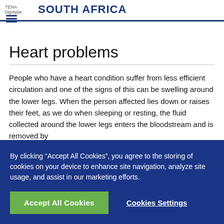TENA logotype SOUTH AFRICA
Heart problems
People who have a heart condition suffer from less efficient circulation and one of the signs of this can be swelling around the lower legs. When the person affected lies down or raises their feet, as we do when sleeping or resting, the fluid collected around the lower legs enters the bloodstream and is removed by
By clicking “Accept All Cookies”, you agree to the storing of cookies on your device to enhance site navigation, analyze site usage, and assist in our marketing efforts.
Accept All Cookies
Cookies Settings